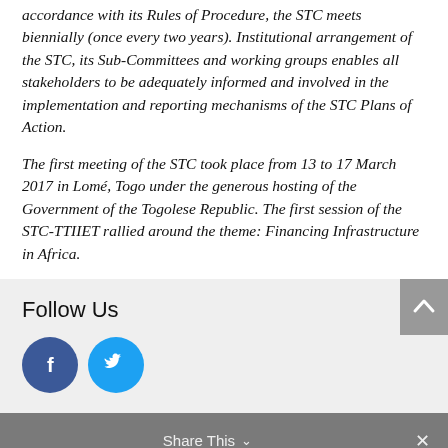accordance with its Rules of Procedure, the STC meets biennially (once every two years). Institutional arrangement of the STC, its Sub-Committees and working groups enables all stakeholders to be adequately informed and involved in the implementation and reporting mechanisms of the STC Plans of Action.
The first meeting of the STC took place from 13 to 17 March 2017 in Lomé, Togo under the generous hosting of the Government of the Togolese Republic. The first session of the STC-TTIIET rallied around the theme: Financing Infrastructure in Africa.
Follow Us
[Figure (other): Facebook and Twitter social media icon buttons (circular). Facebook button is dark blue with white 'f' icon. Twitter button is light blue with white bird icon.]
Share This ∨  ×
Latest News